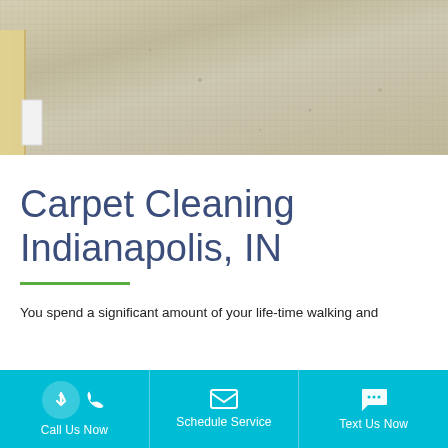[Figure (photo): Close-up photo of a light gray/beige carpet with a baseboard and a small white object visible in the lower left corner.]
Carpet Cleaning Indianapolis, IN
You spend a significant amount of your life-time walking and
Call Us Now | Schedule Service | Text Us Now